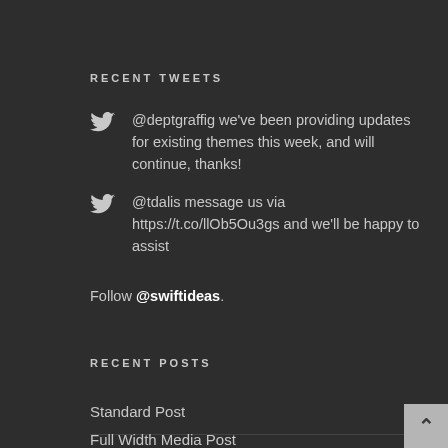RECENT TWEETS
@deptgraffig we've been providing updates for existing themes this week, and will continue, thanks!
@tdalis message us via https://t.co/llOb5Ou3gs and we'll be happy to assist
Follow @swiftideas.
RECENT POSTS
Standard Post
Full Width Media Post
Quote Post